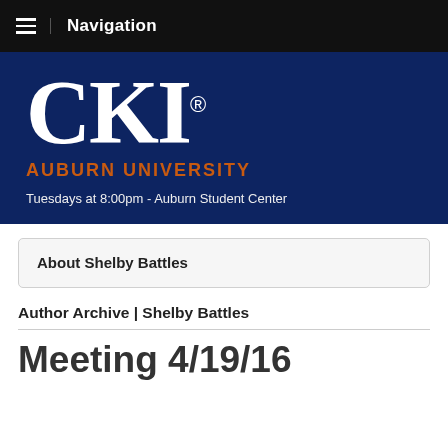Navigation
[Figure (logo): CKI Auburn University logo — large white serif CKI with registered trademark, orange AUBURN UNIVERSITY text below, on dark navy background]
Tuesdays at 8:00pm - Auburn Student Center
About Shelby Battles
Author Archive | Shelby Battles
Meeting 4/19/16